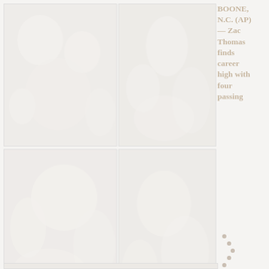[Figure (photo): Faded vintage photograph, top-left panel, showing figures or animals in a whitened/overexposed style]
[Figure (photo): Faded vintage photograph, top-center panel, showing figures in a whitened/overexposed style]
BOONE, N.C. (AP) — Zac Thomas finds career high with four passing
[Figure (photo): Faded vintage photograph, middle-left panel, showing figures in a whitened/overexposed style]
[Figure (photo): Faded vintage photograph, middle-center panel, showing figures with some decorative dots overlay]
[Figure (photo): Faded vintage photograph, bottom-left panel, large panel showing figures in a whitened/overexposed style]
[Figure (photo): Faded vintage photograph, bottom strip panel]